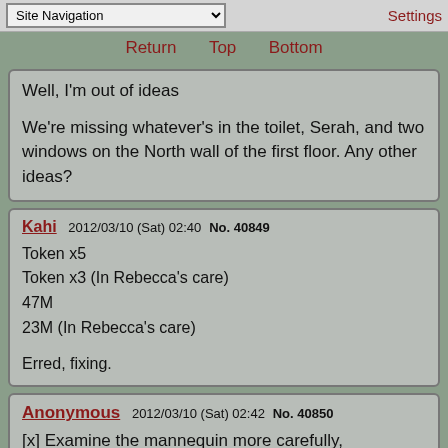Site Navigation | Settings
Return  Top  Bottom
Well, I'm out of ideas

We're missing whatever's in the toilet, Serah, and two windows on the North wall of the first floor. Any other ideas?
Kahi  2012/03/10 (Sat) 02:40  No. 40849
Token x5
Token x3 (In Rebecca's care)
47M
23M (In Rebecca's care)

Erred, fixing.
Anonymous  2012/03/10 (Sat) 02:42  No. 40850
[x] Examine the mannequin more carefully,